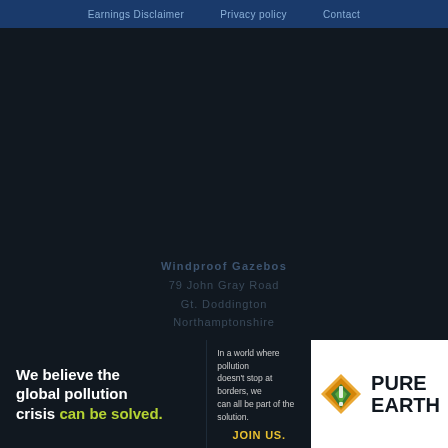Earnings Disclaimer   Privacy policy   Contact
Windproof Gazebos
79 John Gray Road
Gt. Doddington
Northamptonshire
[Figure (infographic): Pure Earth advertisement banner. Left dark section: 'We believe the global pollution crisis can be solved.' Middle dark section: 'In a world where pollution doesn't stop at borders, we can all be part of the solution. JOIN US.' Right white section: Pure Earth logo with diamond hazard icon.]